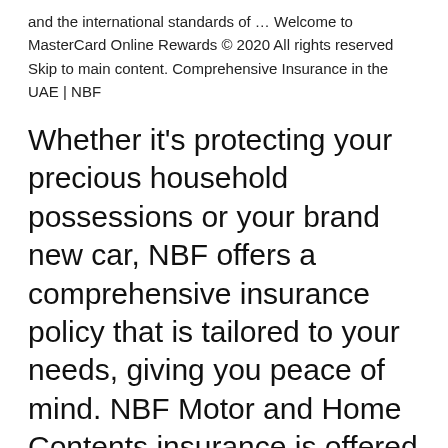and the international standards of … Welcome to MasterCard Online Rewards © 2020 All rights reserved Skip to main content. Comprehensive Insurance in the UAE | NBF
Whether it's protecting your precious household possessions or your brand new car, NBF offers a comprehensive insurance policy that is tailored to your needs, giving you peace of mind. NBF Motor and Home Contents insurance is offered through Oman Insurance Company, the largest insurer in the UAE.
يقدم منتجات 3931 الأكثر Alibaba.com :حول المنتج والموردين